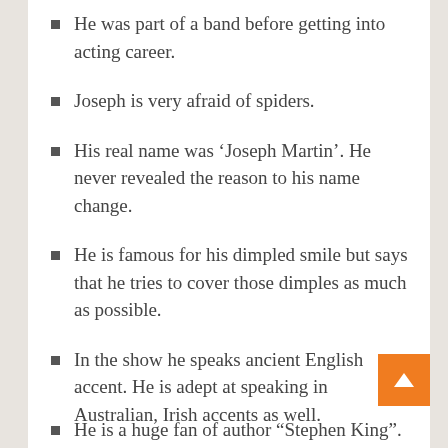He was part of a band before getting into acting career.
Joseph is very afraid of spiders.
His real name was ‘Joseph Martin’. He never revealed the reason to his name change.
He is famous for his dimpled smile but says that he tries to cover those dimples as much as possible.
In the show he speaks ancient English accent. He is adept at speaking in Australian, Irish accents as well.
Joseph took audition for the role of young Voldemort or Tom Riddle, the antagonist of Harry Potter series, in which he didn’t succeed.
He is a huge fan of author “Stephen King”.